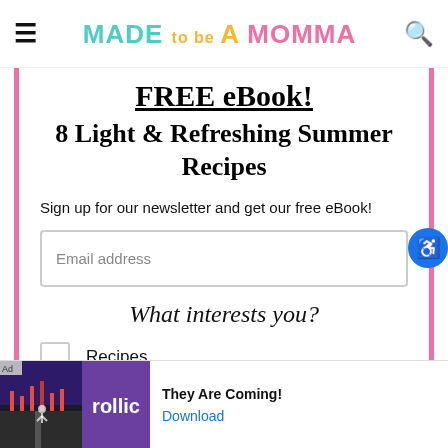MADE to be A MOMMA
FREE eBook!
8 Light & Refreshing Summer Recipes
Sign up for our newsletter and get our free eBook!
Email address
What interests you?
Recipes
Crafts
[Figure (screenshot): Ad banner for 'rollic' mobile game 'They Are Coming!' with Download link]